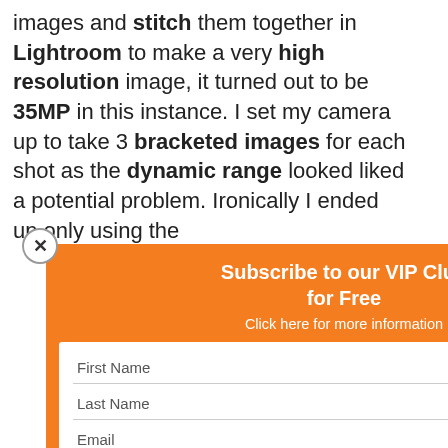images and stitch them together in Lightroom to make a very high resolution image, it turned out to be 35MP in this instance. I set my camera up to take 3 bracketed images for each shot as the dynamic range looked liked a potential problem. Ironically I ended up only using the [partially obscured] the dynamic [obscured] as come a long [obscured] safe
[Figure (screenshot): Popup widget: Subscribe to our VIP Club for Free, with First Name, Last Name, Email fields and SUBSCRIBE! button. Privacy note below.]
[Figure (screenshot): Screenshot of Lightroom showing a 35MP panoramic image of Las Vegas cityscape with editing panel on the right. Watermark: DaveCurley.com]
Final 35MP Image to